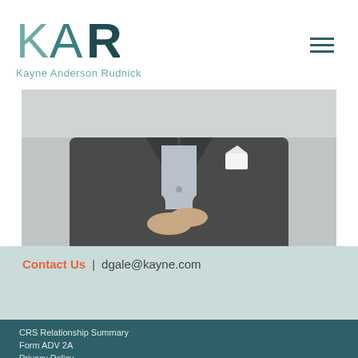[Figure (logo): KAR logo - Kayne Anderson Rudnick investment firm logo with stylized KAR letters in teal and dark teal with tagline Kayne Anderson Rudnick]
[Figure (photo): Professional photo of a man in a dark grey suit with arms crossed, white pocket square visible, light blue shirt underneath]
Contact Us | dgale@kayne.com
CRS Relationship Summary
Form ADV 2A
Privacy Policy